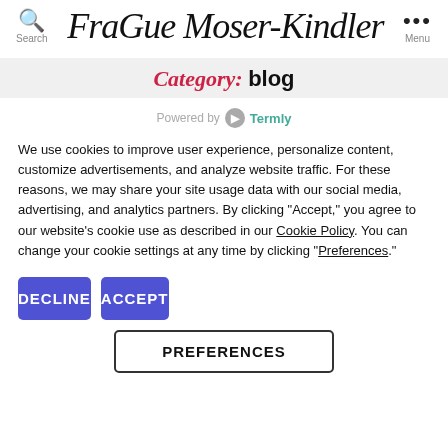Search  FraGue Moser-Kindler  Menu
Category: blog
Powered by Termly
We use cookies to improve user experience, personalize content, customize advertisements, and analyze website traffic. For these reasons, we may share your site usage data with our social media, advertising, and analytics partners. By clicking "Accept," you agree to our website's cookie use as described in our Cookie Policy. You can change your cookie settings at any time by clicking "Preferences."
DECLINE
ACCEPT
PREFERENCES